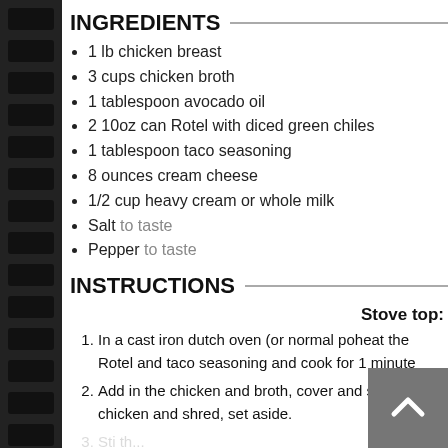INGREDIENTS
1 lb chicken breast
3 cups chicken broth
1 tablespoon avocado oil
2 10oz can Rotel with diced green chiles
1 tablespoon taco seasoning
8 ounces cream cheese
1/2 cup heavy cream or whole milk
Salt to taste
Pepper to taste
INSTRUCTIONS
Stove top:
In a cast iron dutch oven (or normal poheat the Rotel and taco seasoning and cook for 1 minute
Add in the chicken and broth, cover and simme chicken and shred, set aside.